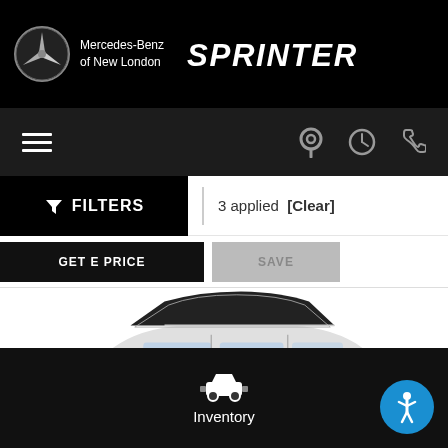Mercedes-Benz of New London SPRINTER
FILTERS | 3 applied [Clear]
GET E PRICE  SAVE
[Figure (photo): A white Mercedes-Benz SUV (GLB-class) photographed from a three-quarter front angle, with dark roof and chrome trim, on a white background.]
Inventory